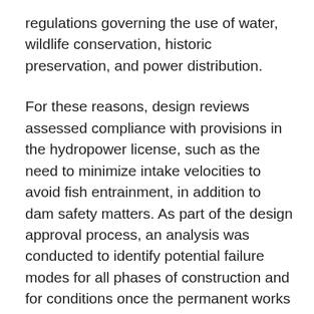regulations governing the use of water, wildlife conservation, historic preservation, and power distribution.
For these reasons, design reviews assessed compliance with provisions in the hydropower license, such as the need to minimize intake velocities to avoid fish entrainment, in addition to dam safety matters. As part of the design approval process, an analysis was conducted to identify potential failure modes for all phases of construction and for conditions once the permanent works were in place and to develop mitigation and monitoring measures where appropriate.